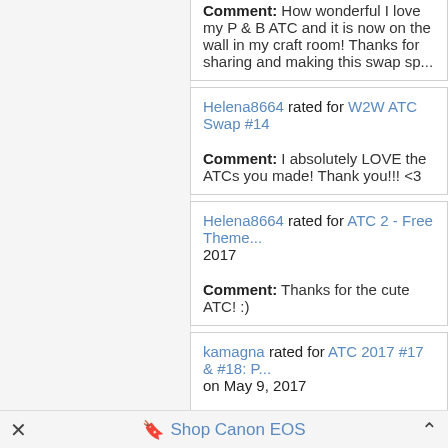Comment: How wonderful I love my P & B ATC and it is now on the wall in my craft room! Thanks for sharing and making this swap sp...
Helena8664 rated for W2W ATC Swap #14
Comment: I absolutely LOVE the ATCs you made! Thank you!!! <3
Helena8664 rated for ATC 2 - Free Theme... 2017
Comment: Thanks for the cute ATC! :)
kamagna rated for ATC 2017 #17 & #18: P... on May 9, 2017
Comment: Thank you for the lovely ATCs!
scrappermama rated for An..ATC..A...Day....
Shop Canon EOS